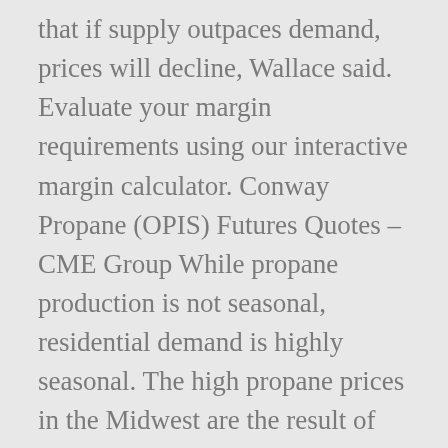that if supply outpaces demand, prices will decline, Wallace said. Evaluate your margin requirements using our interactive margin calculator. Conway Propane (OPIS) Futures Quotes – CME Group While propane production is not seasonal, residential demand is highly seasonal. The high propane prices in the Midwest are the result of both increased demand for crop drying in November and increased demand for ... Create a CMEGroup.com Account: More features, more insights. Historically, the propane spot price peaked during periods of lower national inventory such as the winter of 2014 with a price of 1.695 USD per gallon. The latest